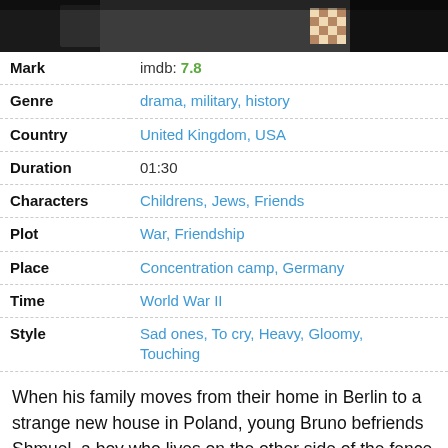[Figure (photo): Movie scene still image strip at top of page]
| Mark | imdb: 7.8 |
| Genre | drama, military, history |
| Country | United Kingdom, USA |
| Duration | 01:30 |
| Characters | Childrens, Jews, Friends |
| Plot | War, Friendship |
| Place | Concentration camp, Germany |
| Time | World War II |
| Style | Sad ones, To cry, Heavy, Gloomy, Touching |
When his family moves from their home in Berlin to a strange new house in Poland, young Bruno befriends Shmuel, a boy who lives on the other side of the fence where everyone seems to be wearing striped pajamas. Unaware of Shmuel's fate as a Jewish prisoner or the role his own Nazi father plays in his